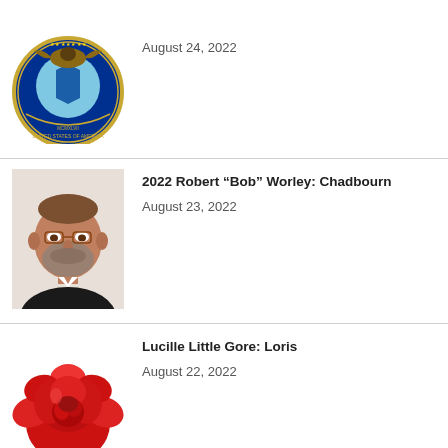[Figure (logo): US Air Force Department seal/emblem, partially visible at top]
August 24, 2022
[Figure (photo): Photo of Robert Bob Worley, a middle-aged man with glasses and a beard]
2022 Robert “Bob” Worley: Chadbourn
August 23, 2022
[Figure (illustration): Red rose illustration]
Lucille Little Gore: Loris
August 22, 2022
[Figure (photo): Partially visible silhouette/placeholder portrait at bottom of page]